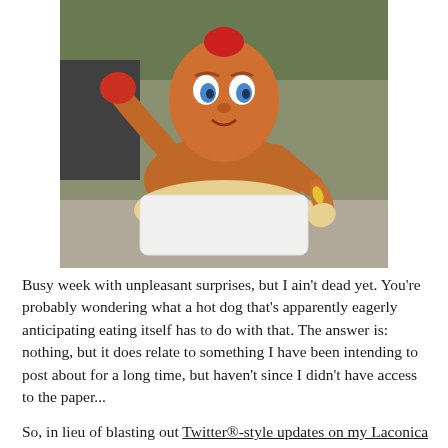[Figure (photo): A novelty hot dog anthropomorphic figure/mascot sitting in a white container, appearing to eagerly anticipate eating a smaller hot dog it holds. The figure has human-like facial features with blue eyes and red hair-like top, and muscular arms.]
Busy week with unpleasant surprises, but I ain't dead yet. You're probably wondering what a hot dog that's apparently eagerly anticipating eating itself has to do with that. The answer is: nothing, but it does relate to something I have been intending to post about for a long time, but haven't since I didn't have access to the paper...
So, in lieu of blasting out Twitter®-style updates on my Laconica feed that nobody reads anyway (a few